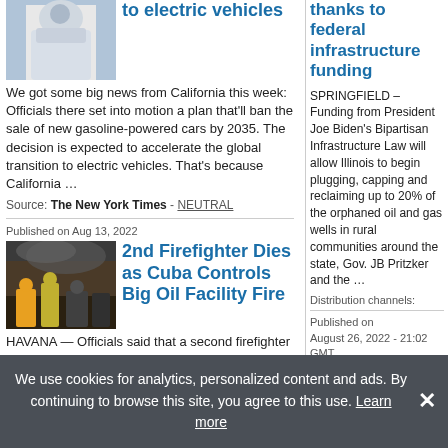[Figure (photo): Person in protective gear / white suit, partial view at top left]
to electric vehicles
We got some big news from California this week: Officials there set into motion a plan that'll ban the sale of new gasoline-powered cars by 2035. The decision is expected to accelerate the global transition to electric vehicles. That's because California …
Source: The New York Times - NEUTRAL
Published on Aug 13, 2022
[Figure (photo): Firefighters at a fire scene, dark smoke background]
2nd Firefighter Dies as Cuba Controls Big Oil Facility Fire
HAVANA — Officials said that a second firefighter has died in Cuba, where crews have controlled a massive blaze that began last week at a key oil storage facility amid a deepening energy crisis. The 24-year-old firefighter identified as Elier Correa had …
Source: Virgin Islands Free Press - NEUTRAL
Published on Aug 25, 2022
[Figure (photo): Green crop/field image, partially visible]
Cropped, 24 August
thanks to federal infrastructure funding
SPRINGFIELD – Funding from President Joe Biden's Bipartisan Infrastructure Law will allow Illinois to begin plugging, capping and reclaiming up to 20% of the orphaned oil and gas wells in rural communities around the state, Gov. JB Pritzker and the …
Distribution channels:
Published on
August 26, 2022 - 21:02 GMT
Illinois to address up to 20% of orphaned oil and gas wells in the state thanks to federal infrastructure funding
We use cookies for analytics, personalized content and ads. By continuing to browse this site, you agree to this use. Learn more